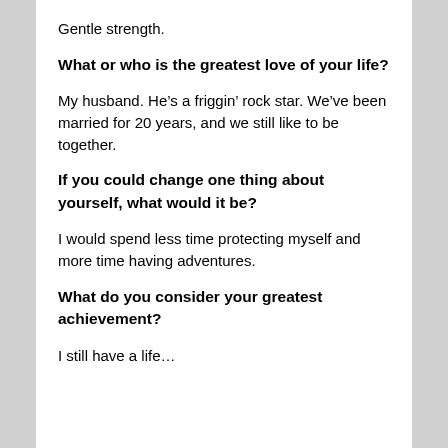Gentle strength.
What or who is the greatest love of your life?
My husband. He’s a friggin’ rock star. We’ve been married for 20 years, and we still like to be together.
If you could change one thing about yourself, what would it be?
I would spend less time protecting myself and more time having adventures.
What do you consider your greatest achievement?
I still have a life…